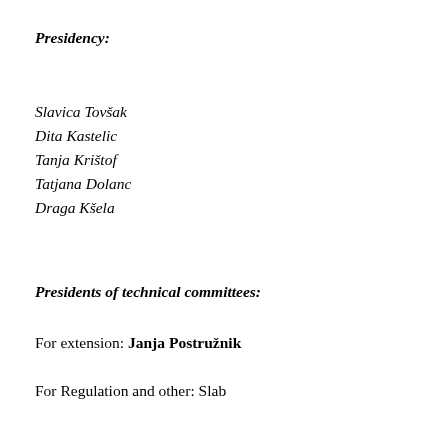Presidency:
Slavica Tovšak
Dita Kastelic
Tanja Krištof
Tatjana Dolanc
Draga Kšela
Presidents of technical committees:
For extension: Janja Postružnik
For Regulation and other: Slab...